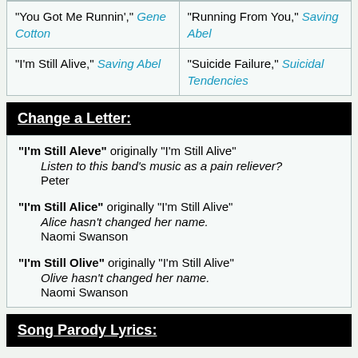| "You Got Me Runnin'," Gene Cotton | "Running From You," Saving Abel |
| "I'm Still Alive," Saving Abel | "Suicide Failure," Suicidal Tendencies |
Change a Letter:
"I'm Still Aleve" originally "I'm Still Alive"
    Listen to this band's music as a pain reliever?
    Peter
"I'm Still Alice" originally "I'm Still Alive"
    Alice hasn't changed her name.
    Naomi Swanson
"I'm Still Olive" originally "I'm Still Alive"
    Olive hasn't changed her name.
    Naomi Swanson
Song Parody Lyrics: